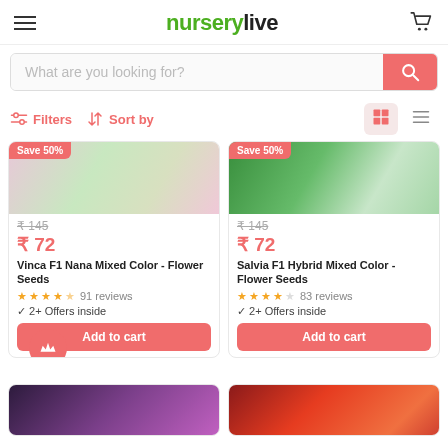nurserylive
What are you looking for?
Filters   Sort by
[Figure (screenshot): Flower seeds product card - Vinca F1 Nana Mixed Color with Save 50% badge, price ₹72 (original ₹145), 4.5 stars, 91 reviews, 2+ Offers inside, Add to cart button]
[Figure (screenshot): Flower seeds product card - Salvia F1 Hybrid Mixed Color with Save 50% badge, price ₹72 (original ₹145), 4 stars, 83 reviews, 2+ Offers inside, Add to cart button]
[Figure (screenshot): Partial bottom product card with purple flower image]
[Figure (screenshot): Partial bottom product card with orange/red flower image]